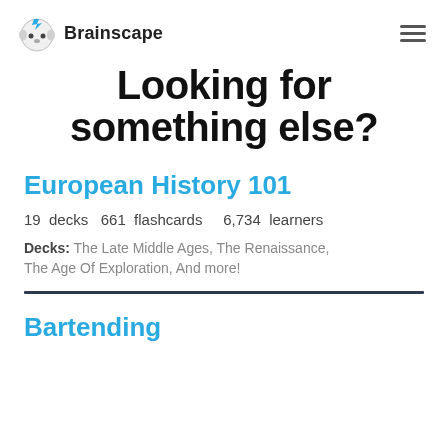Brainscape
Looking for something else?
European History 101
19 decks  661 flashcards  6,734 learners
Decks: The Late Middle Ages, The Renaissance, The Age Of Exploration, And more!
Bartending